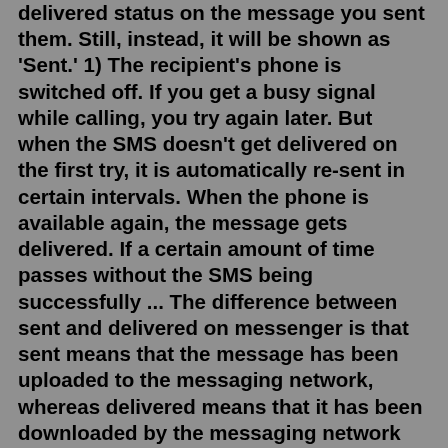delivered status on the message you sent them. Still, instead, it will be shown as 'Sent.' 1) The recipient's phone is switched off. If you get a busy signal while calling, you try again later. But when the SMS doesn't get delivered on the first try, it is automatically re-sent in certain intervals. When the phone is available again, the message gets delivered. If a certain amount of time passes without the SMS being successfully ... The difference between sent and delivered on messenger is that sent means that the message has been uploaded to the messaging network, whereas delivered means that it has been downloaded by the messaging network and is ready for viewing by the recipient. The number of mobile phone users has grown remarkably over the past decades. types of stemcells Your text message may be sent but not delivered because the recipient's phone may be switched off, the network provider may be experiencing some technical difficulties, the receiver's number may be roaming, or the user may have blocked message delivery from some numbers to